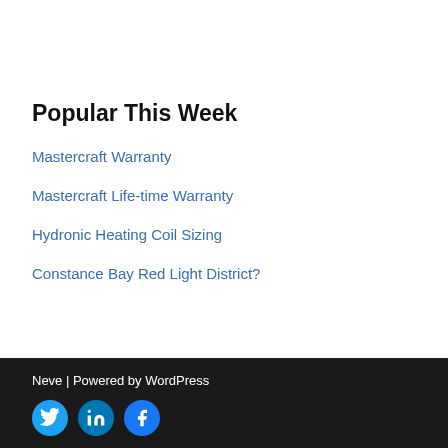Popular This Week
Mastercraft Warranty
Mastercraft Life-time Warranty
Hydronic Heating Coil Sizing
Constance Bay Red Light District?
Neve | Powered by WordPress